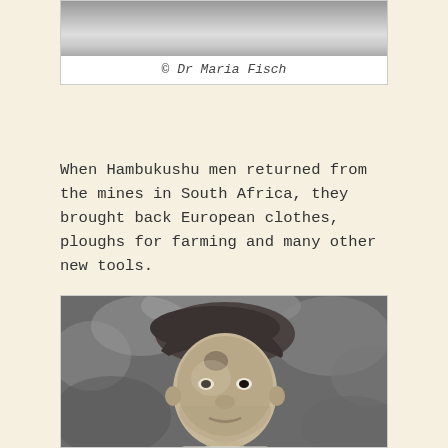[Figure (photo): Black and white photograph (top portion visible) showing an outdoor scene, partially cropped at top of page]
© Dr Maria Fisch
When Hambukushu men returned from the mines in South Africa, they brought back European clothes, ploughs for farming and many other new tools.
[Figure (photo): Black and white portrait photograph of a young child wearing a beret-style hat, looking directly at the camera with a slight smile]